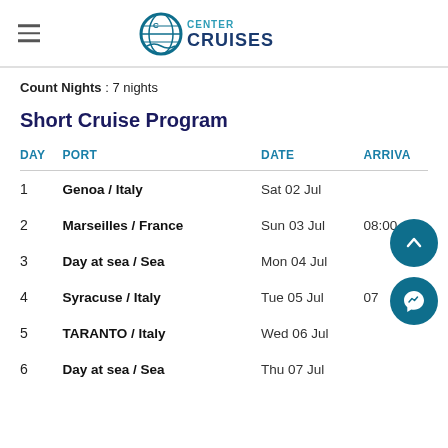CENTER CRUISES
Count Nights : 7 nights
Short Cruise Program
| DAY | PORT | DATE | ARRIVA |
| --- | --- | --- | --- |
| 1 | Genoa / Italy | Sat 02 Jul |  |
| 2 | Marseilles / France | Sun 03 Jul | 08:00 |
| 3 | Day at sea / Sea | Mon 04 Jul |  |
| 4 | Syracuse / Italy | Tue 05 Jul | 07... |
| 5 | TARANTO / Italy | Wed 06 Jul |  |
| 6 | Day at sea / Sea | Thu 07 Jul |  |